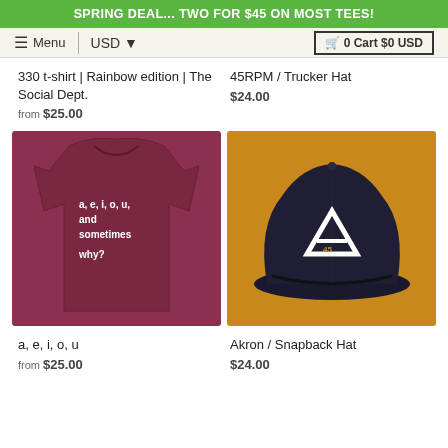SPRING DEAL... TWO FOR $45 ON MOST TEES!
Menu | USD ▼ | 🛒 0 Cart $0 USD
330 t-shirt | Rainbow edition | The Social Dept.
from $25.00
45RPM / Trucker Hat
$24.00
[Figure (photo): Maroon/burgundy t-shirt with white text reading 'a, e, i, o, u, and sometimes why?']
[Figure (photo): Black snapback hat with letter A logo on golden/amber background]
a, e, i, o, u
from $25.00
Akron / Snapback Hat
$24.00